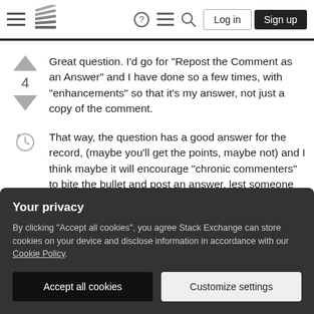Stack Exchange navigation bar with hamburger menu, logo, help, chat, search icons, Log in and Sign up buttons
Great question. I'd go for "Repost the Comment as an Answer" and I have done so a few times, with "enhancements" so that it's my answer, not just a copy of the comment.
That way, the question has a good answer for the record, (maybe you'll get the points, maybe not) and I think maybe it will encourage "chronic commenters" to bite the bullet and post an answer, lest someone "beat them to the punch".
Your privacy
By clicking "Accept all cookies", you agree Stack Exchange can store cookies on your device and disclose information in accordance with our Cookie Policy.
Accept all cookies
Customize settings
answers to trivial questions in comments - probably